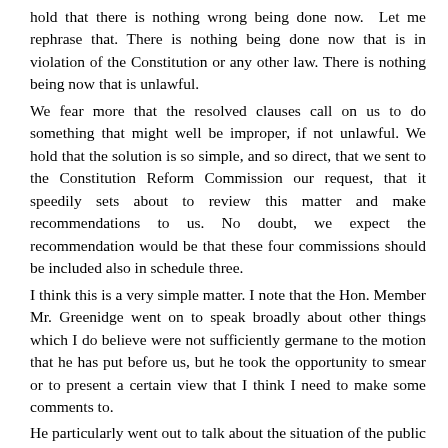hold that there is nothing wrong being done now.  Let me rephrase that. There is nothing being done now that is in violation of the Constitution or any other law. There is nothing being now that is unlawful.
We fear more that the resolved clauses call on us to do something that might well be improper, if not unlawful. We hold that the solution is so simple, and so direct, that we sent to the Constitution Reform Commission our request, that it speedily sets about to review this matter and make recommendations to us. No doubt, we expect the recommendation would be that these four commissions should be included also in schedule three.
I think this is a very simple matter. I note that the Hon. Member Mr. Greenidge went on to speak broadly about other things which I do believe were not sufficiently germane to the motion that he has put before us, but he took the opportunity to smear or to present a certain view that I think I need to make some comments to.
He particularly went out to talk about the situation of the public servants. I would say that it would well be that we in Guyana, coming to independence, did have a tradition in our country where public servants were independent, where public servants did not express views that  in any way would be different from the administration. We came from that period where public servants did